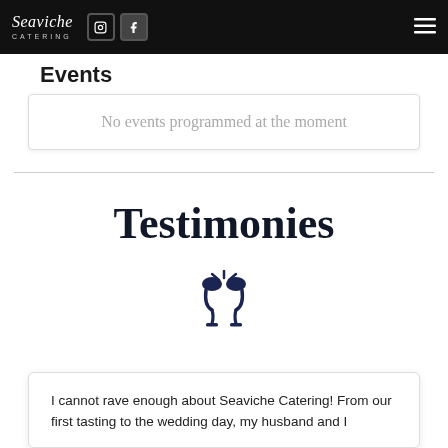Seaviche Catering — navigation bar with Instagram and Facebook icons and hamburger menu
Events
No events programmed at the moment
Testimonies
[Figure (illustration): Two wine glasses clinking toast icon in dark navy blue]
I cannot rave enough about Seaviche Catering! From our first tasting to the wedding day, my husband and I